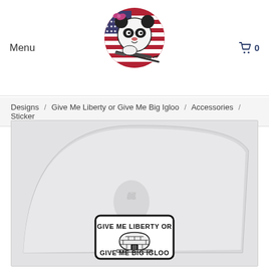Menu
[Figure (logo): Panda mascot logo with American flag background, wearing a bow, holding an assault rifle]
0
Designs / Give Me Liberty or Give Me Big Igloo / Accessories / Sticker
[Figure (photo): MacBook laptop from behind showing a sticker that reads GIVE ME LIBERTY OR GIVE ME BIG IGLOO with an igloo illustration]